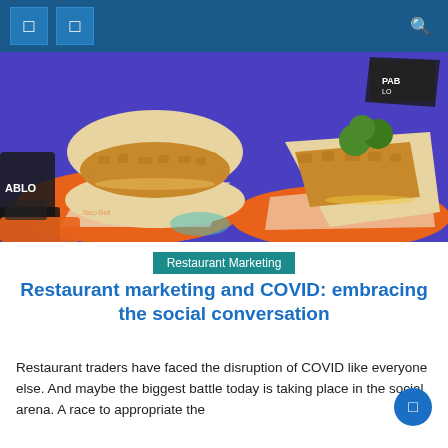Navigation bar with icons
[Figure (photo): Two crispy fried chicken sandwiches/tacos in bao-style buns on orange Taco Bell branded wrappers against a purple background, with snack packets visible]
Restaurant Marketing
Restaurant marketing and COVID: embracing the social conversation
Restaurant traders have faced the disruption of COVID like everyone else. And maybe the biggest battle today is taking place in the social arena. A race to appropriate the